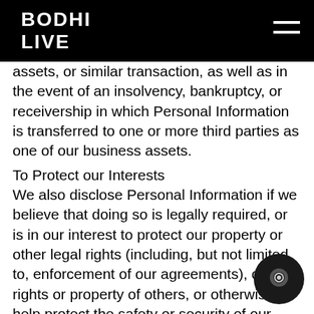BODHI LIVE
assets, or similar transaction, as well as in the event of an insolvency, bankruptcy, or receivership in which Personal Information is transferred to one or more third parties as one of our business assets.
To Protect our Interests
We also disclose Personal Information if we believe that doing so is legally required, or is in our interest to protect our property or other legal rights (including, but not limited to, enforcement of our agreements), or the rights or property of others, or otherwise to help protect the safety or security of our Service and other users of the Service.
Choice
If you receive commercial e-mail from us, you may unsubscribe at any time by following the instructions contained within the e-mail. You may also opt-out of receiving commercial e-mail from us, and any other